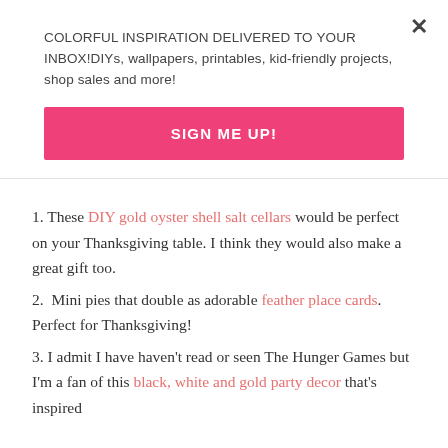COLORFUL INSPIRATION DELIVERED TO YOUR INBOX!DIYs, wallpapers, printables, kid-friendly projects, shop sales and more!
SIGN ME UP!
1. These DIY gold oyster shell salt cellars would be perfect on your Thanksgiving table. I think they would also make a great gift too.
2. Mini pies that double as adorable feather place cards. Perfect for Thanksgiving!
3. I admit I have haven't read or seen The Hunger Games but I'm a fan of this black, white and gold party decor that's inspired